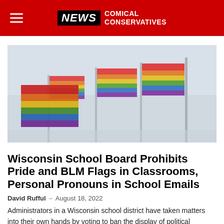NEWS COMICAL CONSERVATIVES
[Figure (photo): Multiple rainbow Pride flags flying on flagpoles against a grey sky, arranged in a row receding into the background.]
Wisconsin School Board Prohibits Pride and BLM Flags in Classrooms, Personal Pronouns in School Emails
David Rufful – August 18, 2022
Administrators in a Wisconsin school district have taken matters into their own hands by voting to ban the display of political propaganda in